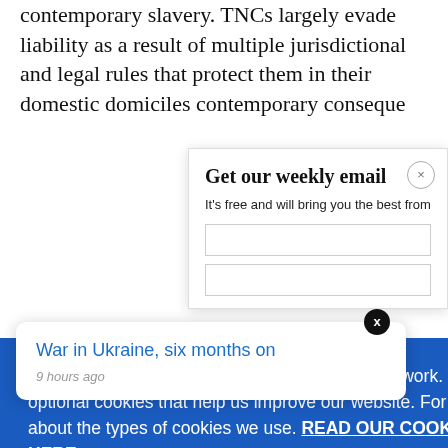contemporary slavery. TNCs largely evade liability as a result of multiple jurisdictional and legal rules that protect them in their domestic domiciles contemporary consequence
[Figure (screenshot): Get our weekly email modal overlay with close button and subtitle text 'It's free and will bring you the best from']
We use necessary cookies that allow our site to work. We also set optional cookies that help us improve our website. For more information about the types of cookies we use. READ OUR COOKIES POLICY HERE
COOKIE
ALLOW
S
[Figure (screenshot): Notification card: War in Ukraine, six months on — 9 hours ago, with X close button]
data.
effect in c